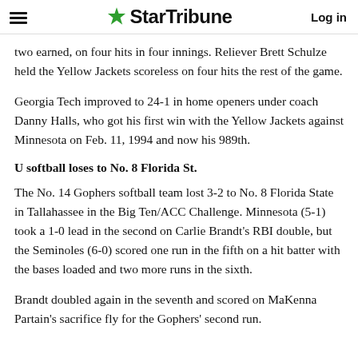StarTribune  Log in
two earned, on four hits in four innings. Reliever Brett Schulze held the Yellow Jackets scoreless on four hits the rest of the game.
Georgia Tech improved to 24-1 in home openers under coach Danny Halls, who got his first win with the Yellow Jackets against Minnesota on Feb. 11, 1994 and now his 989th.
U softball loses to No. 8 Florida St.
The No. 14 Gophers softball team lost 3-2 to No. 8 Florida State in Tallahassee in the Big Ten/ACC Challenge. Minnesota (5-1) took a 1-0 lead in the second on Carlie Brandt's RBI double, but the Seminoles (6-0) scored one run in the fifth on a hit batter with the bases loaded and two more runs in the sixth.
Brandt doubled again in the seventh and scored on MaKenna Partain's sacrifice fly for the Gophers' second run.